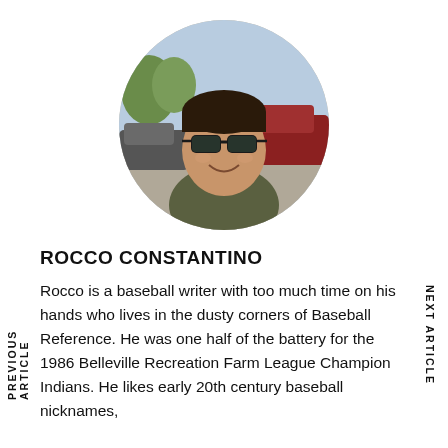[Figure (photo): Circular cropped photo of a man wearing sunglasses and a dark shirt, smiling, outdoors with cars and trees visible in background]
ROCCO CONSTANTINO
Rocco is a baseball writer with too much time on his hands who lives in the dusty corners of Baseball Reference. He was one half of the battery for the 1986 Belleville Recreation Farm League Champion Indians. He likes early 20th century baseball nicknames,
PREVIOUS ARTICLE
NEXT ARTICLE